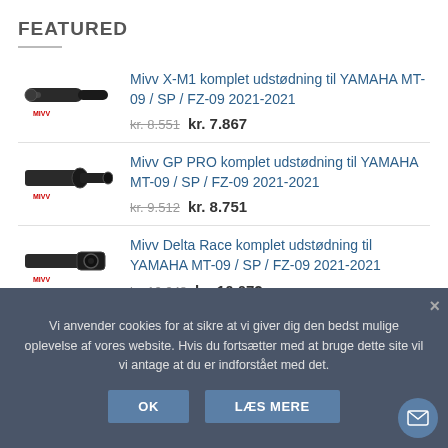FEATURED
Mivv X-M1 komplet udstødning til YAMAHA MT-09 / SP / FZ-09 2021-2021 kr. 8.551 kr. 7.867
Mivv GP PRO komplet udstødning til YAMAHA MT-09 / SP / FZ-09 2021-2021 kr. 9.512 kr. 8.751
Mivv Delta Race komplet udstødning til YAMAHA MT-09 / SP / FZ-09 2021-2021 kr. 10.948 kr. 10.072
Vi anvender cookies for at sikre at vi giver dig den bedst mulige oplevelse af vores website. Hvis du fortsætter med at bruge dette site vil vi antage at du er indforstået med det.